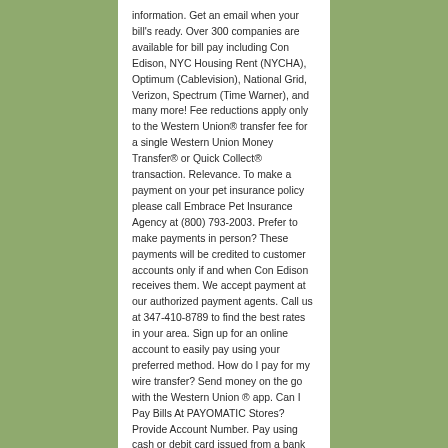information. Get an email when your bill's ready. Over 300 companies are available for bill pay including Con Edison, NYC Housing Rent (NYCHA), Optimum (Cablevision), National Grid, Verizon, Spectrum (Time Warner), and many more! Fee reductions apply only to the Western Union® transfer fee for a single Western Union Money Transfer® or Quick Collect® transaction. Relevance. To make a payment on your pet insurance policy please call Embrace Pet Insurance Agency at (800) 793-2003. Prefer to make payments in person? These payments will be credited to customer accounts only if and when Con Edison receives them. We accept payment at our authorized payment agents. Call us at 347-410-8789 to find the best rates in your area. Sign up for an online account to easily pay using your preferred method. How do I pay for my wire transfer? Send money on the go with the Western Union ® app. Can I Pay Bills At PAYOMATIC Stores? Provide Account Number. Pay using cash or debit card issued from a bank in the United States. Have your bill and your bank account or card information ready when you call. You should open an account and at least then